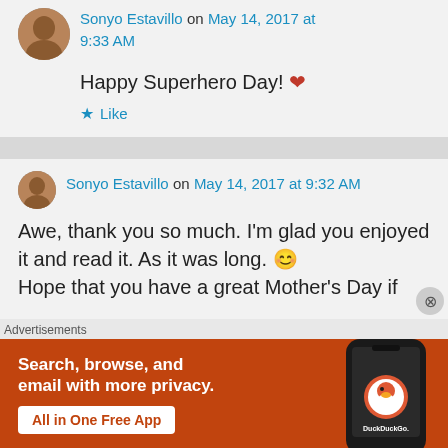Sonyo Estavillo on May 14, 2017 at 9:33 AM
Happy Superhero Day! ❤
Like
Sonyo Estavillo on May 14, 2017 at 9:32 AM
Awe, thank you so much. I'm glad you enjoyed it and read it. As it was long. 😊 Hope that you have a great Mother's Day if
Advertisements
[Figure (infographic): DuckDuckGo advertisement banner: orange background with text 'Search, browse, and email with more privacy. All in One Free App' and a phone displaying DuckDuckGo logo on right side.]